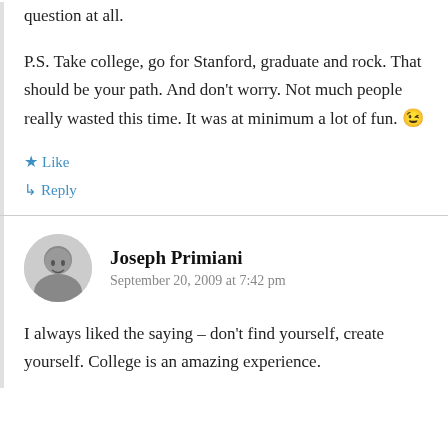question at all.
P.S. Take college, go for Stanford, graduate and rock. That should be your path. And don't worry. Not much people really wasted this time. It was at minimum a lot of fun. 😉
Like
Reply
Joseph Primiani
September 20, 2009 at 7:42 pm
I always liked the saying – don't find yourself, create yourself. College is an amazing experience.